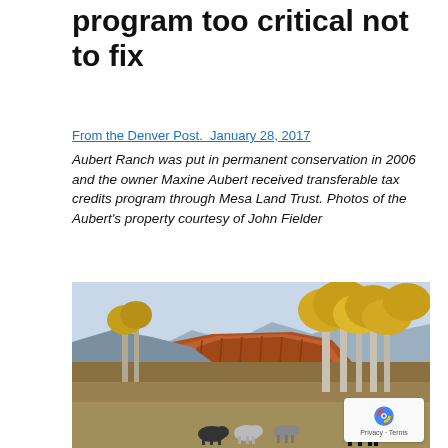program too critical not to fix
From the Denver Post.  January 28, 2017
Aubert Ranch was put in permanent conservation in 2006 and the owner Maxine Aubert received transferable tax credits program through Mesa Land Trust. Photos of the Aubert's property courtesy of John Fielder
[Figure (photo): Landscape photo of Aubert Ranch showing cattle grazing in a field with golden aspen trees and dramatic red sandstone cliff formations and mountains in the background under a clear sky.]